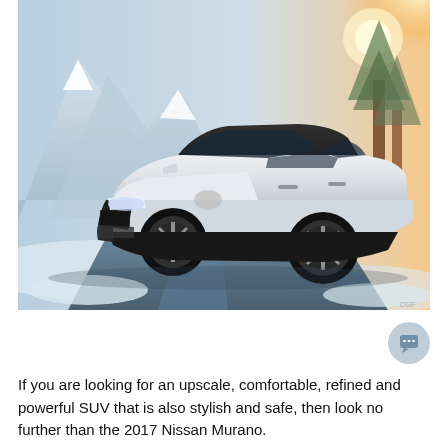[Figure (photo): A white 2017 Nissan Murano SUV driving on a snowy road with snow-capped mountains and winter trees in the background.]
If you are looking for an upscale, comfortable, refined and powerful SUV that is also stylish and safe, then look no further than the 2017 Nissan Murano.